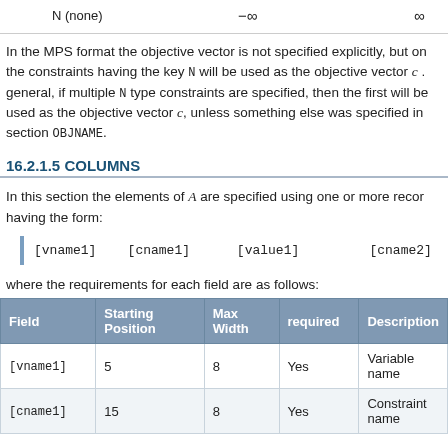|  |  |  |
| --- | --- | --- |
| N (none) | −∞ | ∞ |
In the MPS format the objective vector is not specified explicitly, but one of the constraints having the key N will be used as the objective vector c. In general, if multiple N type constraints are specified, then the first will be used as the objective vector c, unless something else was specified in section OBJNAME.
16.2.1.5 COLUMNS
In this section the elements of A are specified using one or more records having the form:
[vname1]    [cname1]      [value1]         [cname2]   [val
where the requirements for each field are as follows:
| Field | Starting Position | Max Width | required | Description |
| --- | --- | --- | --- | --- |
| [vname1] | 5 | 8 | Yes | Variable name |
| [cname1] | 15 | 8 | Yes | Constraint name |